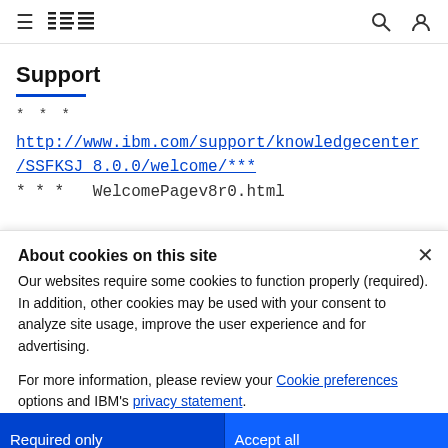IBM Support
Support
* * *
http://www.ibm.com/support/knowledgecenter/SSFKSJ_8.0.0/welcome/***
***   WelcomePagev8r0.html
About cookies on this site
Our websites require some cookies to function properly (required). In addition, other cookies may be used with your consent to analyze site usage, improve the user experience and for advertising.
For more information, please review your Cookie preferences options and IBM's privacy statement.
Required only | Accept all